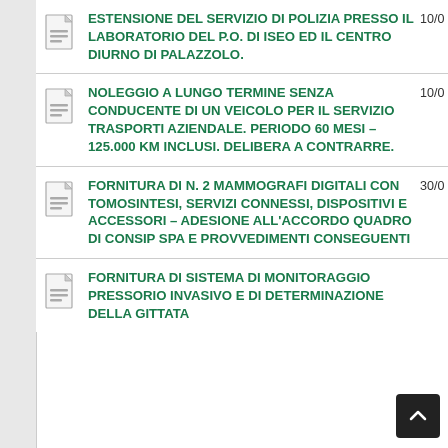ESTENSIONE DEL SERVIZIO DI POLIZIA PRESSO IL LABORATORIO DEL P.O. DI ISEO ED IL CENTRO DIURNO DI PALAZZOLO.
NOLEGGIO A LUNGO TERMINE SENZA CONDUCENTE DI UN VEICOLO PER IL SERVIZIO TRASPORTI AZIENDALE. PERIODO 60 MESI – 125.000 KM INCLUSI. DELIBERA A CONTRARRE.
FORNITURA DI N. 2 MAMMOGRAFI DIGITALI CON TOMOSINTESI, SERVIZI CONNESSI, DISPOSITIVI E ACCESSORI – ADESIONE ALL'ACCORDO QUADRO DI CONSIP SPA E PROVVEDIMENTI CONSEGUENTI
FORNITURA DI SISTEMA DI MONITORAGGIO PRESSORIO INVASIVO E DI DETERMINAZIONE DELLA GITTATA